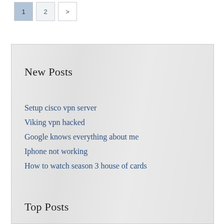1 2 >
New Posts
Setup cisco vpn server
Viking vpn hacked
Google knows everything about me
Iphone not working
How to watch season 3 house of cards
Top Posts